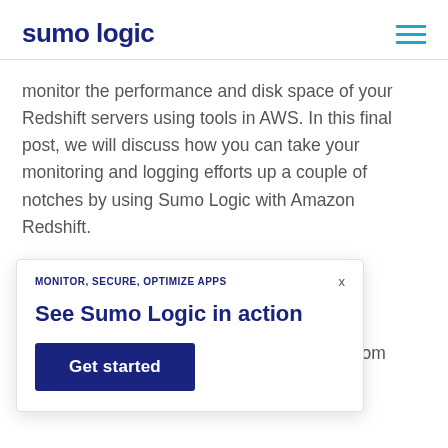sumo logic
monitor the performance and disk space of your Redshift servers using tools in AWS. In this final post, we will discuss how you can take your monitoring and logging efforts up a couple of notches by using Sumo Logic with Amazon Redshift.
ain better real-ture. Monitoring is top of mind for security analysts, and out-of-the-box tools from
[Figure (other): Popup modal/overlay with headline 'MONITOR, SECURE, OPTIMIZE APPS', title 'See Sumo Logic in action', and a dark blue 'Get started' button.]